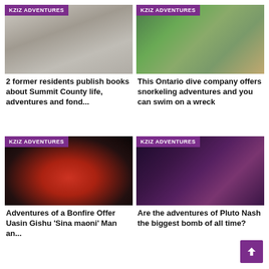[Figure (photo): Black and white photo of a person on horseback in a snowy outdoor setting with 'KZIZ ADVENTURES' badge]
2 former residents publish books about Summit County life, adventures and fond...
[Figure (photo): Aerial view of a person near water with a metal structure, with 'KZIZ ADVENTURES' badge]
This Ontario dive company offers snorkeling adventures and you can swim on a wreck
[Figure (photo): Close-up portrait of a man wearing a red hood in dark setting with 'KZIZ ADVENTURES' badge]
Adventures of a Bonfire Offer Uasin Gishu 'Sina maoni' Man an...
[Figure (photo): Three people in colorful outfits in a dramatic scene with 'KZIZ ADVENTURES' badge]
Are the adventures of Pluto Nash the biggest bomb of all time?